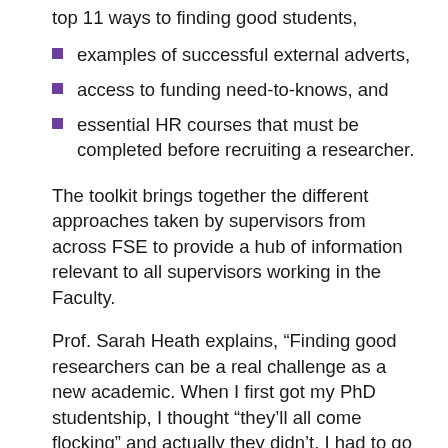top 11 ways to finding good students,
examples of successful external adverts,
access to funding need-to-knows, and
essential HR courses that must be completed before recruiting a researcher.
The toolkit brings together the different approaches taken by supervisors from across FSE to provide a hub of information relevant to all supervisors working in the Faculty.
Prof. Sarah Heath explains, “Finding good researchers can be a real challenge as a new academic. When I first got my PhD studentship, I thought “they’ll all come flocking” and actually they didn’t. I had to go out and find them.
“Personally I don’t think there’s any one solution. You